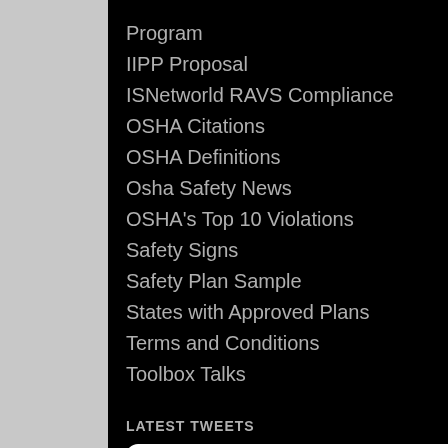Program
IIPP Proposal
ISNetworld RAVS Compliance
OSHA Citations
OSHA Definitions
Osha Safety News
OSHA's Top 10 Violations
Safety Signs
Safety Plan Sample
States with Approved Plans
Terms and Conditions
Toolbox Talks
LATEST TWEETS
OSHA Safety Manuals @safetyman... · May 28 safetymanualosha.com/springtime-yar ...